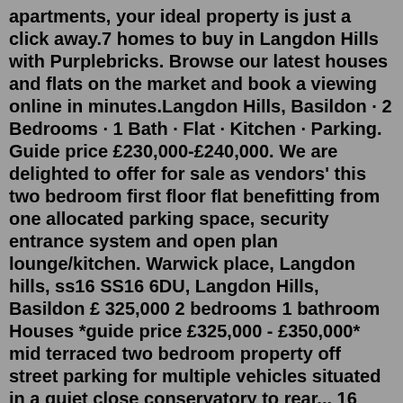apartments, your ideal property is just a click away.7 homes to buy in Langdon Hills with Purplebricks. Browse our latest houses and flats on the market and book a viewing online in minutes.Langdon Hills, Basildon · 2 Bedrooms · 1 Bath · Flat · Kitchen · Parking. Guide price £230,000-£240,000. We are delighted to offer for sale as vendors' this two bedroom first floor flat benefitting from one allocated parking space, security entrance system and open plan lounge/kitchen. Warwick place, Langdon hills, ss16 SS16 6DU, Langdon Hills, Basildon £ 325,000 2 bedrooms 1 bathroom Houses *guide price £325,000 - £350,000* mid terraced two bedroom property off street parking for multiple vehicles situated in a quiet close conservatory to rear... 16 property.xyz 30+ days ago 3 bed terraced house for sale in Basildon, EssexA wide range of 2 bedroom flats to buy in Langdon Hills with Primelocation. See apartments from the leading agents in Langdon Hills on a map. ... Flats for sale in ... Langdon Hills, Basildon · 2 Bedrooms · 1 Bath · Flat · Kitchen · Parking. Guide price £230,000...